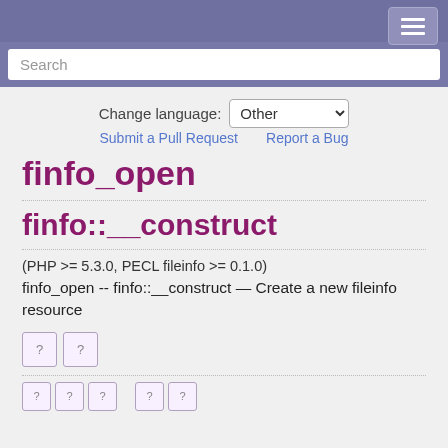Search
Change language: Other
Submit a Pull Request    Report a Bug
finfo_open
finfo::__construct
(PHP >= 5.3.0, PECL fileinfo >= 0.1.0)
finfo_open -- finfo::__construct — Create a new fileinfo resource
[Figure (other): Two small image placeholder boxes with question marks]
[Figure (other): Five small image placeholder boxes with question marks]